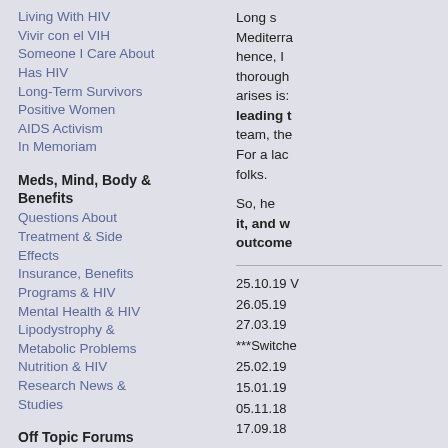Living With HIV
Vivir con el VIH
Someone I Care About Has HIV
Long-Term Survivors
Positive Women
AIDS Activism
In Memoriam
Meds, Mind, Body & Benefits
Questions About Treatment & Side Effects
Insurance, Benefits Programs & HIV
Mental Health & HIV
Lipodystrophy & Metabolic Problems
Nutrition & HIV
Research News & Studies
Off Topic Forums
Off Topic Forum
Forums Gatherings
Long s... Mediterra... hence, I thoroughly arises is: leading t... team, the For a lac... folks.
So, he... it, and w... outcome...
25.10.19 V
26.05.19
27.03.19
***Switche
25.02.19
15.01.19
05.11.18
17.09.18